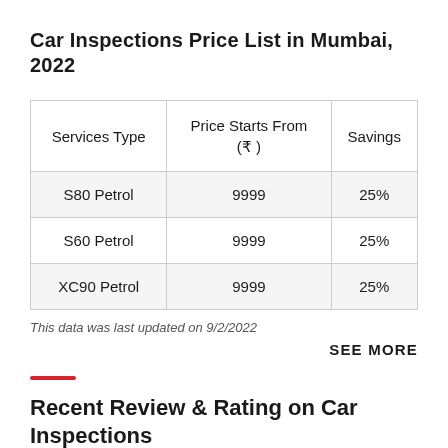Car Inspections Price List in Mumbai, 2022
| Services Type | Price Starts From (₹) | Savings |
| --- | --- | --- |
| S80 Petrol | 9999 | 25% |
| S60 Petrol | 9999 | 25% |
| XC90 Petrol | 9999 | 25% |
This data was last updated on 9/2/2022
SEE MORE
Recent Review & Rating on Car Inspections